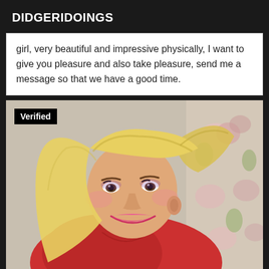DIDGERIDOINGS
girl, very beautiful and impressive physically, I want to give you pleasure and also take pleasure, send me a message so that we have a good time.
[Figure (photo): A smiling blonde woman wearing a red outfit, with floral background. A 'Verified' badge appears in the top-left corner of the image.]